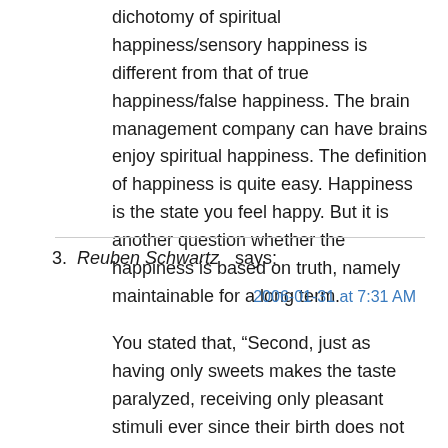dichotomy of spiritual happiness/sensory happiness is different from that of true happiness/false happiness. The brain management company can have brains enjoy spiritual happiness. The definition of happiness is quite easy. Happiness is the state you feel happy. But it is another question whether the happiness is based on truth, namely maintainable for a long term.
3. Reuben Schwartz says: 2006-01-31 at 7:31 AM
You stated that, “Second, just as having only sweets makes the taste paralyzed, receiving only pleasant stimuli ever since their birth does not make the brains happy. So, the company must make the